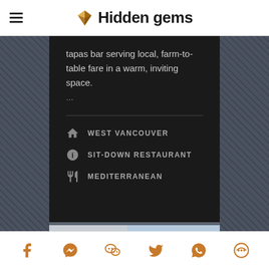Hidden gems
tapas bar serving local, farm-to-table fare in a warm, inviting space.
...
WEST VANCOUVER
SIT-DOWN RESTAURANT
MEDITERRANEAN
[Figure (photo): Exterior of a modern building with white vertical panels and a dark blue sign reading 'restaurant']
Social share icons: Facebook, Messenger, WeChat, Twitter, WhatsApp, Other